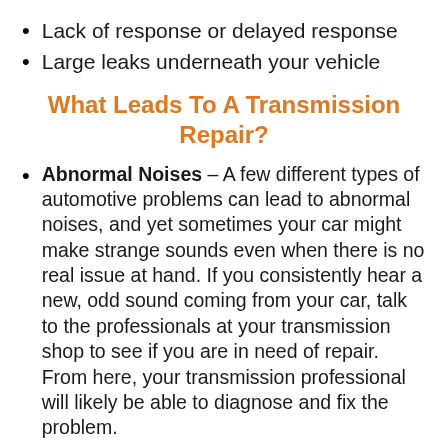Lack of response or delayed response
Large leaks underneath your vehicle
What Leads To A Transmission Repair?
Abnormal Noises – A few different types of automotive problems can lead to abnormal noises, and yet sometimes your car might make strange sounds even when there is no real issue at hand. If you consistently hear a new, odd sound coming from your car, talk to the professionals at your transmission shop to see if you are in need of repair. From here, your transmission professional will likely be able to diagnose and fix the problem.
Slipping Gears – You need to be able to